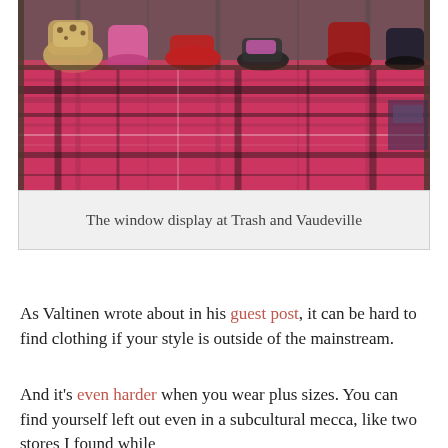[Figure (photo): A colorful shoe store window display with various shoes including leopard print, red patent, pink and black footwear arranged on pink plaid fabric]
The window display at Trash and Vaudeville
As Valtinen wrote about in his guest post, it can be hard to find clothing if your style is outside of the mainstream.
And it's even harder when you wear plus sizes. You can find yourself left out even in a subcultural mecca, like two stores I found while
Privacy & Cookies: This site uses cookies. By continuing to use this website, you agree to their use.
To find out more, including how to control cookies, see here: Cookie Policy
Close and accept